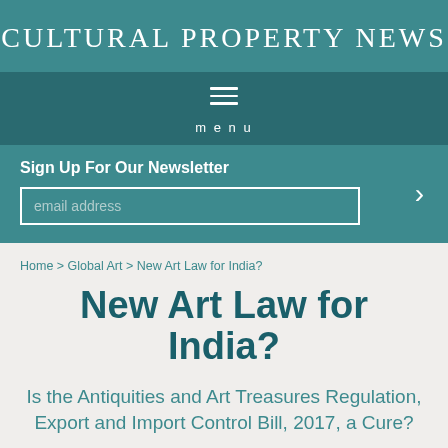CULTURAL PROPERTY NEWS
menu
Sign Up For Our Newsletter
email address
Home > Global Art > New Art Law for India?
New Art Law for India?
Is the Antiquities and Art Treasures Regulation, Export and Import Control Bill, 2017, a Cure?